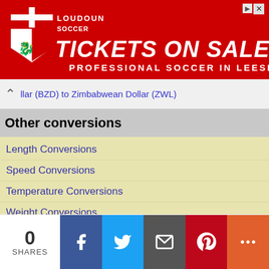[Figure (illustration): Loudoun Soccer advertisement banner: red background with shield logo and text 'TICKETS ON SALE NOW' and 'PROFESSIONAL SOCCER IN LEESBURG']
llar (BZD) to Zimbabwean Dollar (ZWL)
Other conversions
Length Conversions
Speed Conversions
Temperature Conversions
Weight Conversions
Volume Conversions
Cooking Measures Conversions
Currency Conversions
Area Conversions
Data Storage Conversions
Time Conversions
Power Conversions
0 SHARES